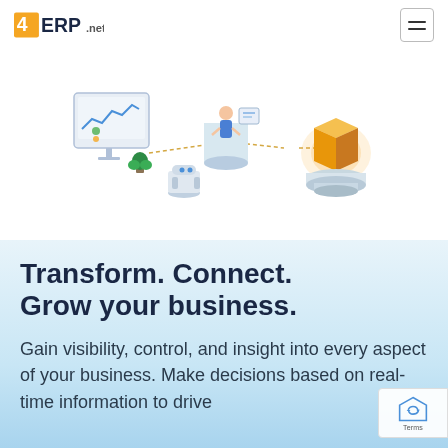4ERP.net
[Figure (illustration): Isometric illustration showing connected ERP system components: a dashboard/chart screen on the left, a central cylindrical platform with a person figure, a robot/AI figure on a smaller platform, and a glowing orange cube/box on the right, connected by lines suggesting data flow.]
Transform. Connect. Grow your business.
Gain visibility, control, and insight into every aspect of your business. Make decisions based on real-time information to drive